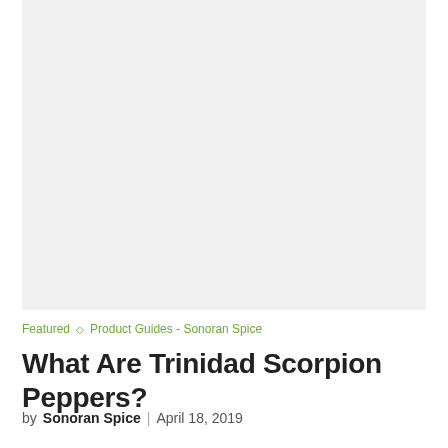[Figure (photo): Large placeholder image area with light gray background]
Featured ◇ Product Guides - Sonoran Spice
What Are Trinidad Scorpion Peppers?
by Sonoran Spice | April 18, 2019